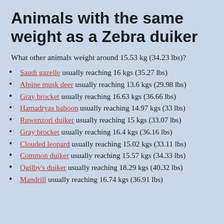Animals with the same weight as a Zebra duiker
What other animals weight around 15.53 kg (34.23 lbs)?
Saudi gazelle usually reaching 16 kgs (35.27 lbs)
Alpine musk deer usually reaching 13.6 kgs (29.98 lbs)
Gray brocket usually reaching 16.63 kgs (36.66 lbs)
Hamadryas baboon usually reaching 14.97 kgs (33 lbs)
Ruwenzori duiker usually reaching 15 kgs (33.07 lbs)
Gray brocket usually reaching 16.4 kgs (36.16 lbs)
Clouded leopard usually reaching 15.02 kgs (33.11 lbs)
Common duiker usually reaching 15.57 kgs (34.33 lbs)
Ogilby's duiker usually reaching 18.29 kgs (40.32 lbs)
Mandrill usually reaching 16.74 kgs (36.91 lbs)